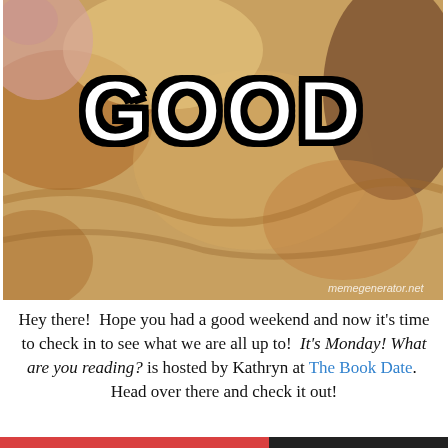[Figure (photo): Close-up photo of a cat's face/fur with large bold meme text 'GOOD' overlaid in white with thick black outline stroke. Watermark reads 'memegenerator.net' in bottom-right.]
Hey there!  Hope you had a good weekend and now it's time to check in to see what we are all up to!  It's Monday!  What are you reading? is hosted by Kathryn at The Book Date.  Head over there and check it out!
Privacy & Cookies: This site uses cookies. By continuing to use this website, you agree to their use. To find out more, including how to control cookies, see here: Cookie Policy